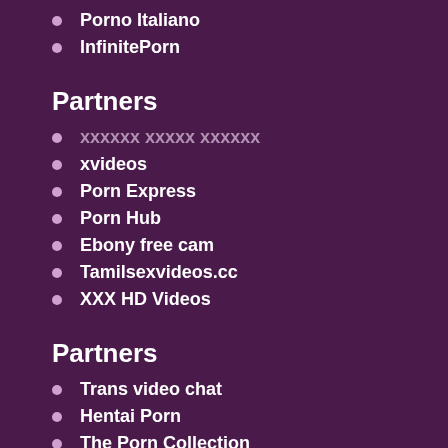Porno Italiano
InfinitePorn
Partners
xxxxxx xxxxx xxxxxx
xvideos
Porn Express
Porn Hub
Ebony free cam
Tamilsexvideos.cc
XXX HD Videos
Partners
Trans video chat
Hentai Porn
The Porn Collection
PornCrash
CFNMJungle.com
Pornsub
Free Premium Porn